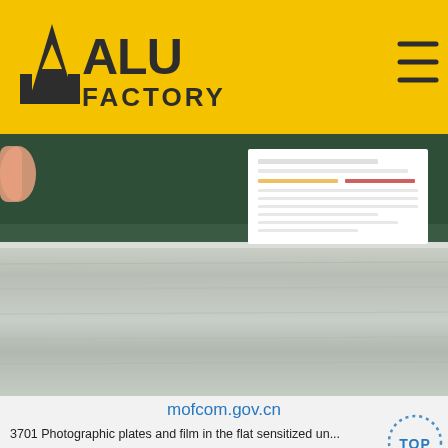[Figure (logo): ALU FACTORY logo with yellow background header bar and hamburger menu icon]
[Figure (photo): Photo of aluminum sheet/plate with a document/quality certificate visible at top, against dark green background]
mofcom.gov.cn
3701 Photographic plates and film in the flat sensitized un...
Get Price